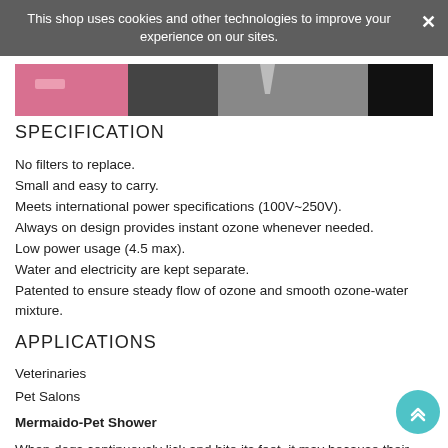This shop uses cookies and other technologies to improve your experience on our sites.
[Figure (photo): Product image strip showing pet shower device with pink and dark background sections]
SPECIFICATION
No filters to replace.
Small and easy to carry.
Meets international power specifications (100V~250V).
Always on design provides instant ozone whenever needed.
Low power usage (4.5 max).
Water and electricity are kept separate.
Patented to ensure steady flow of ozone and smooth ozone-water mixture.
APPLICATIONS
Veterinaries
Pet Salons
Mermaido-Pet Shower
When dogs continuously lick and bite its feet, it may because their feet are infected by bacteria, fungi, viruses, yeasts … etc. What's worse, warm and wet environment makes bacteria/viruses breed easily. If